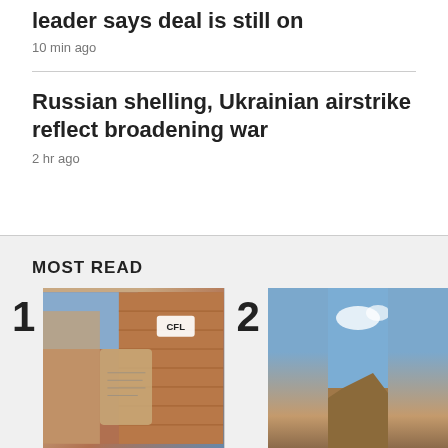leader says deal is still on
10 min ago
Russian shelling, Ukrainian airstrike reflect broadening war
2 hr ago
MOST READ
[Figure (photo): Person holding a paper bag outside a brick building with a CFL sign]
[Figure (photo): Landscape photo with blue sky, clouds, and rocky terrain]